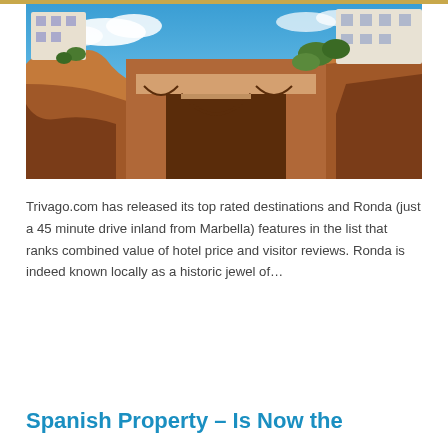[Figure (photo): Panoramic photo of Ronda, Spain showing dramatic cliffs with a historic stone bridge and white buildings perched on top, blue sky with clouds]
Trivago.com has released its top rated destinations and Ronda (just a 45 minute drive inland from Marbella) features in the list that ranks combined value of hotel price and visitor reviews. Ronda is indeed known locally as a historic jewel of…
Read more
Spanish Property – Is Now the